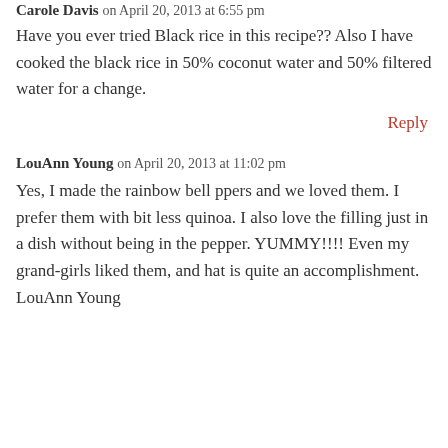Carole Davis on April 20, 2013 at 6:55 pm
Have you ever tried Black rice in this recipe?? Also I have cooked the black rice in 50% coconut water and 50% filtered water for a change.
Reply
LouAnn Young on April 20, 2013 at 11:02 pm
Yes, I made the rainbow bell ppers and we loved them. I prefer them with bit less quinoa. I also love the filling just in a dish without being in the pepper. YUMMY!!!! Even my grand-girls liked them, and hat is quite an accomplishment. LouAnn Young